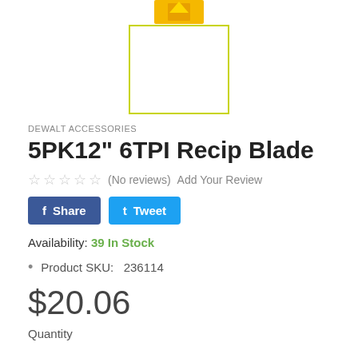[Figure (photo): Product image area showing a DeWalt reciprocating blade package partially visible at the top, with a white rectangular image placeholder below it bordered in yellow-green]
DEWALT ACCESSORIES
5PK12" 6TPI Recip Blade
☆ ☆ ☆ ☆ ☆ (No reviews)  Add Your Review
f Share   t Tweet
Availability: 39 In Stock
Product SKU:   236114
$20.06
Quantity